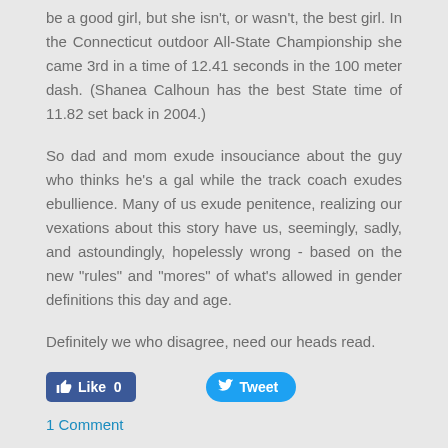be a good girl, but she isn't, or wasn't, the best girl. In the Connecticut outdoor All-State Championship she came 3rd in a time of 12.41 seconds in the 100 meter dash. (Shanea Calhoun has the best State time of 11.82 set back in 2004.)
So dad and mom exude insouciance about the guy who thinks he's a gal while the track coach exudes ebullience. Many of us exude penitence, realizing our vexations about this story have us, seemingly, sadly, and astoundingly, hopelessly wrong - based on the new "rules" and "mores" of what's allowed in gender definitions this day and age.
Definitely we who disagree, need our heads read.
[Figure (other): Facebook Like button showing 0 likes, and a Twitter Tweet button]
1 Comment
Chris Froome to 3-peat Tour De France this 2017?